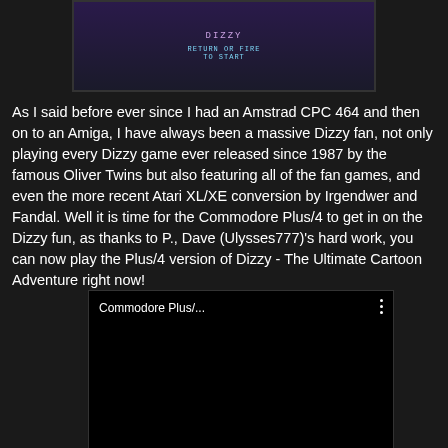[Figure (screenshot): Partial screenshot of a retro game title screen with text 'RETURN OR FIRE TO START' on a dark purple background with decorative border]
As I said before ever since I had an Amstrad CPC 464 and then on to an Amiga, I have always been a massive Dizzy fan, not only playing every Dizzy game ever released since 1987 by the famous Oliver Twins but also featuring all of the fan games, and even the more recent Atari XL/XE conversion by Irgendwer and Fandal. Well it is time for the Commodore Plus/4 to get in on the Dizzy fun, as thanks to P., Dave (Ulysses777)'s hard work, you can now play the Plus/4 version of Dizzy - The Ultimate Cartoon Adventure right now!
[Figure (screenshot): Video thumbnail showing 'Commodore Plus/...' title with three-dot menu icon on black background]